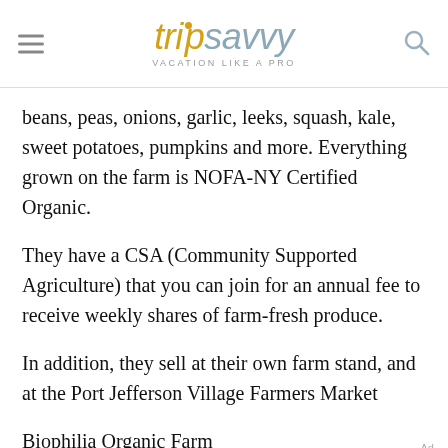tripsavvy VACATION LIKE A PRO
beans, peas, onions, garlic, leeks, squash, kale, sweet potatoes, pumpkins and more. Everything grown on the farm is NOFA-NY Certified Organic.
They have a CSA (Community Supported Agriculture) that you can join for an annual fee to receive weekly shares of farm-fresh produce.
In addition, they sell at their own farm stand, and at the Port Jefferson Village Farmers Market
Biophilia Organic Farm